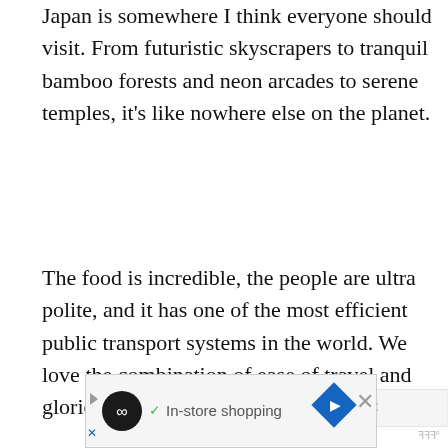Japan is somewhere I think everyone should visit. From futuristic skyscrapers to tranquil bamboo forests and neon arcades to serene temples, it's like nowhere else on the planet.
The food is incredible, the people are ultra polite, and it has one of the most efficient public transport systems in the world. We love the combination of ease of travel and glorious bewilderment.
Japan has so much to offer but where should you start? These are our picks for the absolute best places to visit in Japan, perfect for your first or second trip to the country (plus suggestions for the repeat visits
[Figure (other): Advertisement banner showing In-store shopping with a circular logo, navigation arrow icon, close X button and watermark]